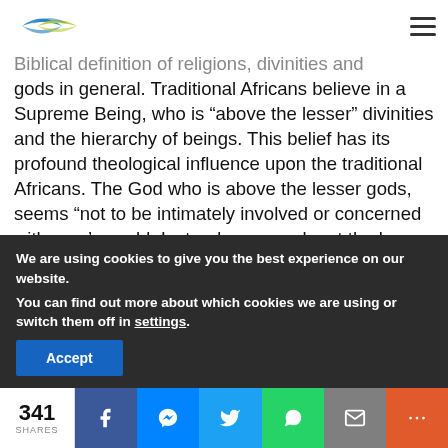[Logo] [Hamburger menu]
Biblical definition of religions, divinities and gods in general. Traditional Africans believe in a Supreme Being, who is “above the lesser” divinities and the hierarchy of beings. This belief has its profound theological influence upon the traditional Africans. The God who is above the lesser gods, seems “not to be intimately involved or concerned with man’s world. Instead, men seek out the lesser powers to meet their lesser needs” (Steyne, 1990:95). Thi…
We are using cookies to give you the best experience on our website.
You can find out more about which cookies we are using or switch them off in settings.
Accept
341
SHARES